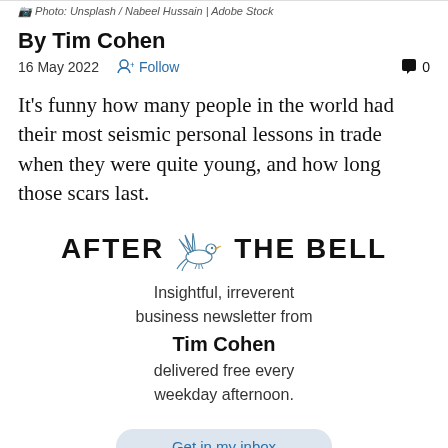Photo: Unsplash / Nabeel Hussain | Adobe Stock
By Tim Cohen
16 May 2022  Follow  0
It's funny how many people in the world had their most seismic personal lessons in trade when they were quite young, and how long those scars last.
[Figure (logo): After The Bell newsletter logo with bird illustration between the words AFTER and THE BELL]
Insightful, irreverent business newsletter from Tim Cohen delivered free every weekday afternoon.
Get in my inbox